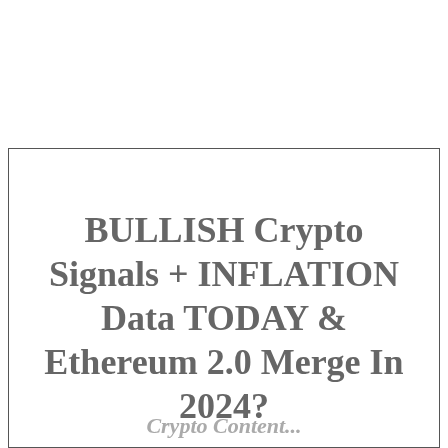BULLISH Crypto Signals + INFLATION Data TODAY & Ethereum 2.0 Merge In 2024?
Crypto Content...